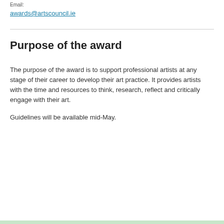Email:
awards@artscouncil.ie
Purpose of the award
The purpose of the award is to support professional artists at any stage of their career to develop their art practice. It provides artists with the time and resources to think, research, reflect and critically engage with their art.
Guidelines will be available mid-May.